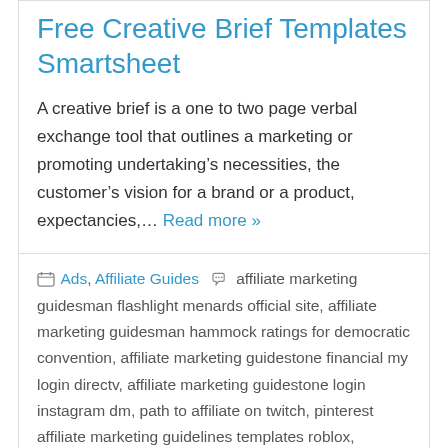Free Creative Brief Templates Smartsheet
A creative brief is a one to two page verbal exchange tool that outlines a marketing or promoting undertaking’s necessities, the customer’s vision for a brand or a product, expectancies,… Read more »
Ads, Affiliate Guides | affiliate marketing guidesman flashlight menards official site, affiliate marketing guidesman hammock ratings for democratic convention, affiliate marketing guidestone financial my login directv, affiliate marketing guidestone login instagram dm, path to affiliate on twitch, pinterest affiliate marketing guidelines templates roblox, wealthy affiliate pictures and banners